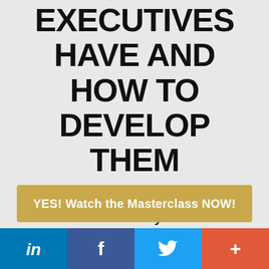EXECUTIVES HAVE AND HOW TO DEVELOP THEM
Presenter: Andrew Bryant, Global Authority on Self-Leadership & Executive Presence.
YES! Watch the Masterclass NOW!
in | f | Twitter bird | +